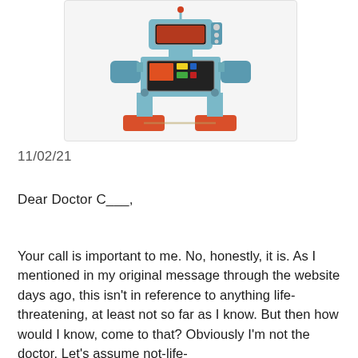[Figure (photo): A vintage tin toy robot with blue body, red feet and arms, and a screen/panel on its chest, photographed against a white background.]
11/02/21
Dear Doctor C___,
Your call is important to me. No, honestly, it is. As I mentioned in my original message through the website days ago, this isn't in reference to anything life-threatening, at least not so far as I know. But then how would I know, come to that? Obviously I'm not the doctor. Let's assume not-life-threatening. No, it's been a question, a concern, a...